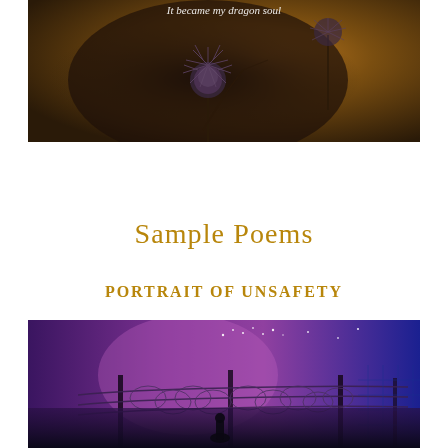[Figure (photo): Dark moody close-up photograph of thistle or spiky seed heads against a warm brown-orange bokeh background, with white italic text reading 'It became my dragon soul']
Sample Poems
PORTRAIT OF UNSAFETY
[Figure (photo): Night scene photograph showing barbed wire fence and security posts against a dramatic purple-to-blue gradient sky with scattered stars, silhouette of a person at the bottom]